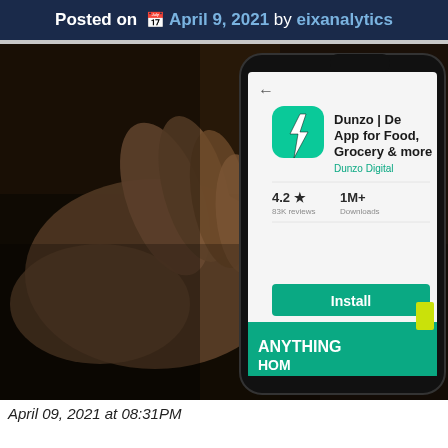Posted on April 9, 2021 by eixanalytics
[Figure (photo): A hand holding a smartphone displaying the Dunzo app on the Google Play Store. The screen shows the Dunzo app icon (green background with white lightning bolt), the title 'Dunzo | Delivery App for Food, Grocery & more', developer name 'Dunzo Digital', rating 4.2 stars with 83K reviews, 1M+ Downloads, and an Install button in green.]
April 09, 2021 at 08:31PM